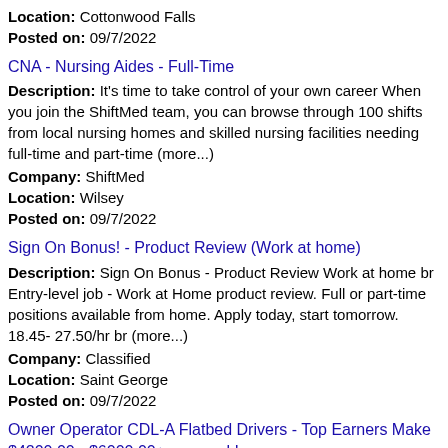Location: Cottonwood Falls
Posted on: 09/7/2022
CNA - Nursing Aides - Full-Time
Description: It's time to take control of your own career When you join the ShiftMed team, you can browse through 100 shifts from local nursing homes and skilled nursing facilities needing full-time and part-time (more...)
Company: ShiftMed
Location: Wilsey
Posted on: 09/7/2022
Sign On Bonus! - Product Review (Work at home)
Description: Sign On Bonus - Product Review Work at home br Entry-level job - Work at Home product review. Full or part-time positions available from home. Apply today, start tomorrow. 18.45- 27.50/hr br (more...)
Company: Classified
Location: Saint George
Posted on: 09/7/2022
Owner Operator CDL-A Flatbed Drivers - Top Earners Make $4200.00 - $6000.00+ per week!
Description: Call 888 871-6276 to speak with a System Transport